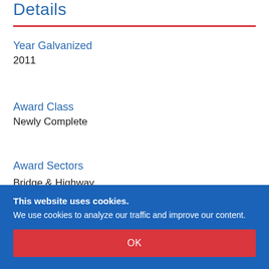Details
Year Galvanized
2011
Award Class
Newly Complete
Award Sectors
Bridge & Highway
Duplex Systems
Recreation & Entertainment
This website uses cookies. We use cookies to analyze our traffic and improve our content.